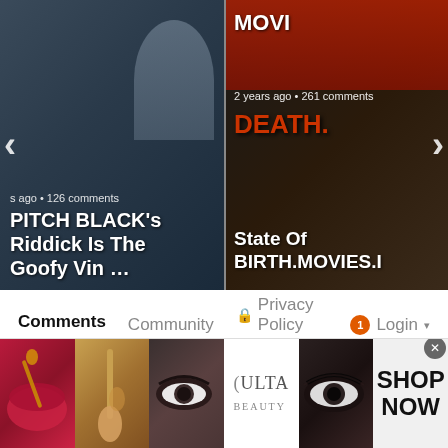[Figure (screenshot): Website screenshot showing two carousel cards. Left card: 's ago • 126 comments / PITCH BLACK's Riddick Is The Goofy Vin ... Right card: 2 years ago • 261 comments / State Of / BIRTH.MOVIES.D... with navigation arrows on sides.]
Comments  Community  🔒 Privacy Policy  1  Login ▾
♡ Favorite   Sort by Best ▾
Join the discussion…
LOG IN WITH
[Figure (screenshot): Social login icons: Disqus (blue D), Facebook (dark blue f), Twitter (light blue bird), Google (red G)]
[Figure (photo): Ad banner with beauty/makeup images: red lips with brush, makeup brush, eye with dark makeup, ULTA Beauty logo, smoky eye, and SHOP NOW button with close X]